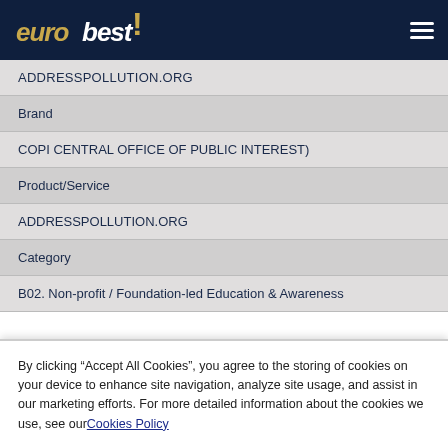eurobest! [logo] [hamburger menu]
ADDRESSPOLLUTION.ORG
Brand
COPI CENTRAL OFFICE OF PUBLIC INTEREST)
Product/Service
ADDRESSPOLLUTION.ORG
Category
B02. Non-profit / Foundation-led Education & Awareness
By clicking “Accept All Cookies”, you agree to the storing of cookies on your device to enhance site navigation, analyze site usage, and assist in our marketing efforts. For more detailed information about the cookies we use, see ourCookies Policy